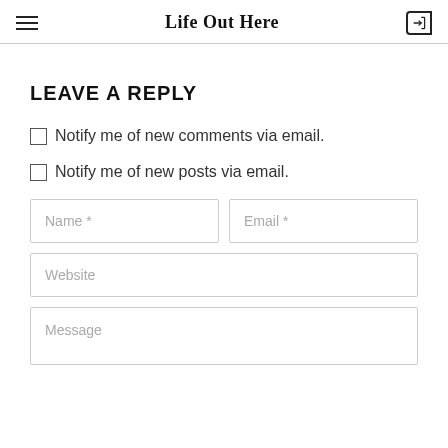Life Out Here
LEAVE A REPLY
Notify me of new comments via email.
Notify me of new posts via email.
Name *
Email *
Website
Message